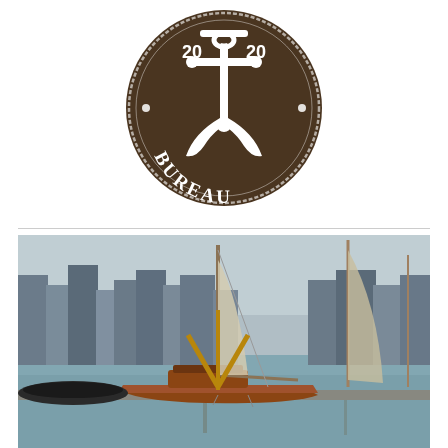[Figure (logo): Circular brown badge/logo with anchor graphic in center, '20 20' flanking the anchor shaft, and 'BUREAU' text in white at the bottom of the circle. Distressed vintage style.]
[Figure (photo): Photograph of classic wooden sailboats moored at a marina. City skyline with buildings in the background. Text overlay reads 'CLICK FOR DETAILS' in orange.]